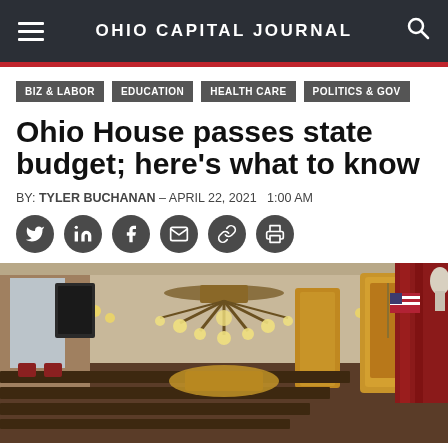OHIO CAPITAL JOURNAL
BIZ & LABOR
EDUCATION
HEALTH CARE
POLITICS & GOV
Ohio House passes state budget; here's what to know
BY: TYLER BUCHANAN – APRIL 22, 2021   1:00 AM
[Figure (photo): Interior of the Ohio House of Representatives chamber showing ornate gold architecture, chandeliers, rows of dark wooden desks and chairs, red curtains, and an American flag on the right side.]